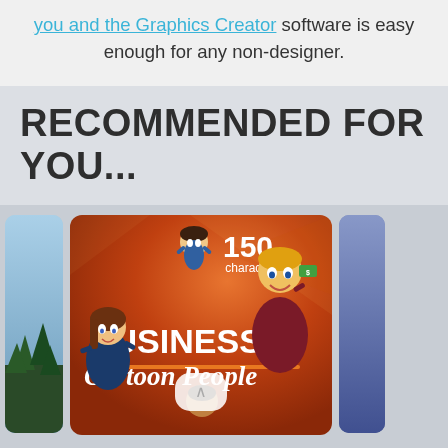you and the Graphics Creator software is easy enough for any non-designer.
RECOMMENDED FOR YOU...
[Figure (illustration): A promotional card for 'Business Cartoon People' showing cartoon characters on an orange background with the text '150 characters!' and 'BUSINESS Cartoon People'. Partially visible blue cards appear on the left and right sides.]